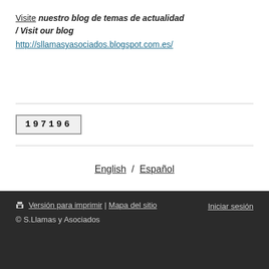Visite nuestro blog de temas de actualidad / Visit our blog
http://sllamasyasociados.blogspot.com.es/
[Figure (other): Visit counter widget showing number 197196]
English / Español
Versión para imprimir | Mapa del sitio   Iniciar sesión
© S.Llamas y Asociados